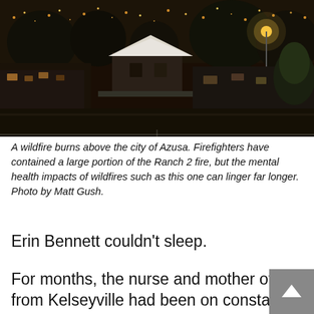[Figure (photo): Night aerial/elevated photo of the city of Azusa with city lights glowing against a dark sky, a house with a peaked white roof visible in the foreground center, surrounded by buildings and trees lit by amber streetlights.]
A wildfire burns above the city of Azusa. Firefighters have contained a large portion of the Ranch 2 fire, but the mental health impacts of wildfires such as this one can linger far longer. Photo by Matt Gush.
Erin Bennett couldn't sleep.
For months, the nurse and mother of two from Kelseyville had been on constant alert. Three times that summer, she and her family had fled their home as wildfires — including the monstrous 2018 Mendocino Complex fire — threatened to engulf their